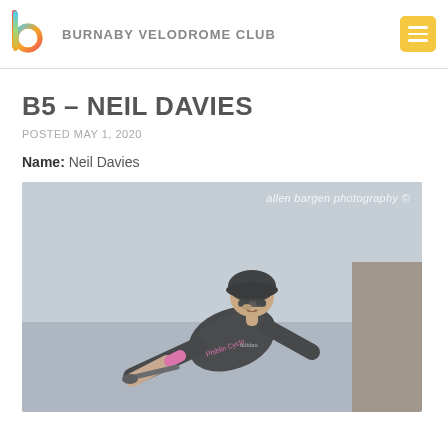BURNABY VELODROME CLUB
B5 – NEIL DAVIES
POSTED MAY 1, 2020
Name: Neil Davies
[Figure (photo): Cyclist Neil Davies wearing a black helmet, glasses, and a dark jersey with pink Phibblin Cyclo branding, leaning forward on a bicycle at an indoor velodrome. Watermark reads 'allen bargen photography ©'.]